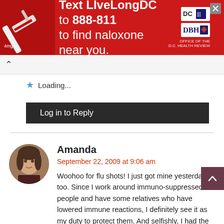[Figure (photo): Red advertisement banner: 'Text LIveLongDC to 888-811 to find naloxone near you.' with syringe photo on left and DC health logos on right]
Loading...
Log in to Reply
Amanda
September 22, 2009 at 9:06 am
[Figure (photo): Circular avatar photo of a woman with light skin and dark hair]
Woohoo for flu shots! I just got mine yesterday, too. Since I work around immuno-suppressed people and have some relatives who have lowered immune reactions, I definitely see it as my duty to protect them. And selfishly, I had the flu once and never again do I want to go through that hell.

@Shiyiya: Can you get them to give you valium or something similar? I'm fine with shots but I have an